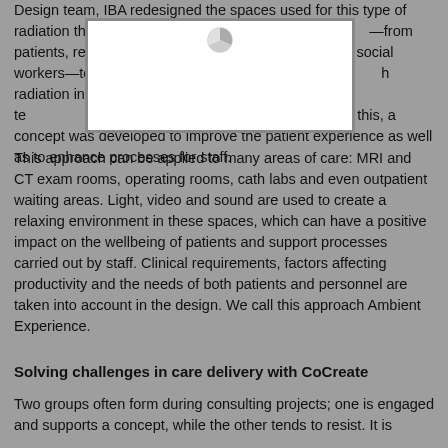Design team, IBA redesigned the spaces used for this type of radiation the—from patients, rel and social workers—to h radiation in a high-te n this, a concept was developed to improve the patient experience as well as to enhance processes for staff.
[Figure (photo): White rectangle placeholder image with a spinner/loading icon at top center, overlaid on the text paragraph]
This approach can be applied to many areas of care: MRI and CT exam rooms, operating rooms, cath labs and even outpatient waiting areas. Light, video and sound are used to create a relaxing environment in these spaces, which can have a positive impact on the wellbeing of patients and support processes carried out by staff. Clinical requirements, factors affecting productivity and the needs of both patients and personnel are taken into account in the design. We call this approach Ambient Experience.
Solving challenges in care delivery with CoCreate
Two groups often form during consulting projects; one is engaged and supports a concept, while the other tends to resist. It is